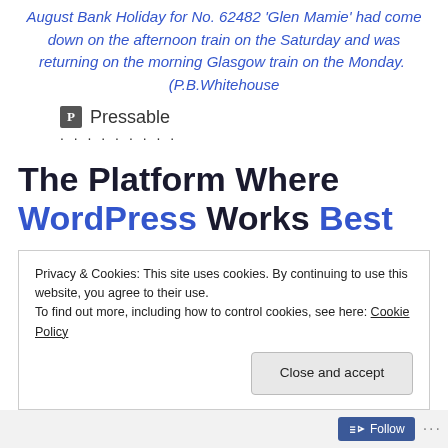August Bank Holiday for No. 62482 'Glen Mamie' had come down on the afternoon train on the Saturday and was returning on the morning Glasgow train on the Monday.  (P.B.Whitehouse
[Figure (logo): Pressable logo — a bold 'P' icon in a dark square followed by the word 'Pressable' in gray text, with a row of dots beneath]
The Platform Where WordPress Works Best
Privacy & Cookies: This site uses cookies. By continuing to use this website, you agree to their use.
To find out more, including how to control cookies, see here: Cookie Policy
Close and accept
Follow